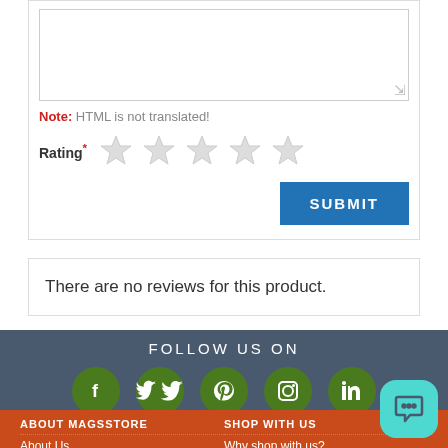[textarea input box]
Note: HTML is not translated!
Rating* [5 empty stars]
SUBMIT
There are no reviews for this product.
FOLLOW US ON
[Figure (infographic): Social media icons: Facebook, Twitter, Pinterest, Instagram, LinkedIn - green circles on dark blue-grey background]
ABOUT MAGSSTORE
About Us
SHOP WITH US
Why shop with us?